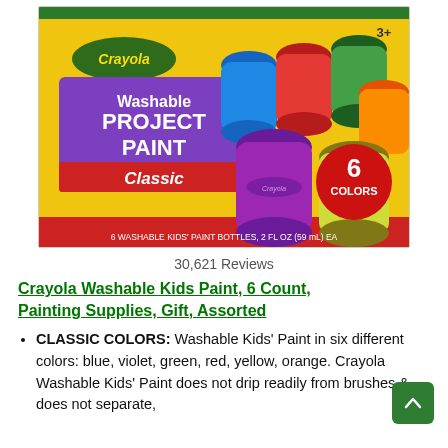[Figure (photo): Crayola Washable Project Paint Classic box with 6 colorful paint bottles (blue, red, green, yellow, purple, orange) on yellow background. Box shows Crayola logo, '3+' age rating, '6 COLORS' badge, and '6 WASHABLE KIDS' PAINT BOTTLES, 2 FL OZ (59 mL) EA' text.]
30,621 Reviews
Crayola Washable Kids Paint, 6 Count, Painting Supplies, Gift, Assorted
CLASSIC COLORS: Washable Kids' Paint in six different colors: blue, violet, green, red, yellow, orange. Crayola Washable Kids' Paint does not drip readily from brushes & does not separate,